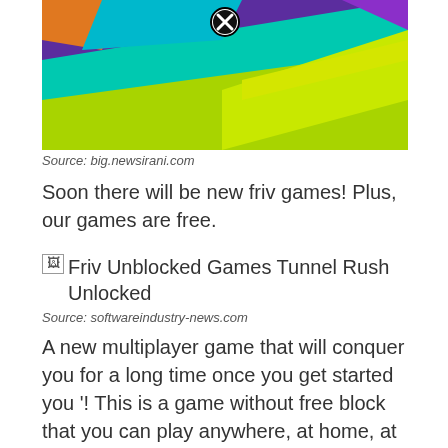[Figure (screenshot): Colorful abstract game screenshot with geometric shapes in purple, teal, green, orange, yellow colors. A close (X) button is visible at the top center.]
Source: big.newsirani.com
Soon there will be new friv games! Plus, our games are free.
[Figure (screenshot): Broken image placeholder with alt text: Friv Unblocked Games Tunnel Rush Unlocked]
Source: softwareindustry-news.com
A new multiplayer game that will conquer you for a long time once you get started you '! This is a game without free block that you can play anywhere, at home, at school or at work.
[Figure (screenshot): Colorful game screenshot with teal background, geometric hexagonal shapes in pink, magenta, purple, orange. A close (X) button is visible at the top center.]